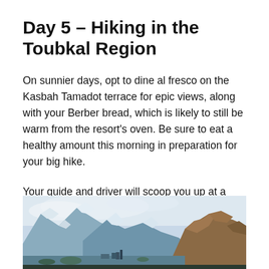Day 5 – Hiking in the Toubkal Region
On sunnier days, opt to dine al fresco on the Kasbah Tamadot terrace for epic views, along with your Berber bread, which is likely to still be warm from the resort's oven. Be sure to eat a healthy amount this morning in preparation for your big hike.
Your guide and driver will scoop you up at a time of your choice for the short drive to Imlil. Here, you'll meet the local hiking expert who will be heading up your trek.
[Figure (photo): Mountain landscape showing snow-capped peaks with clouds, rocky brown hillside on right, and a valley with some structures below — Toubkal region, Morocco.]